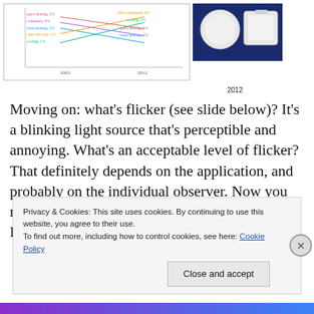[Figure (continuous-plot): Line chart showing energy use trends with multiple colored lines for space heating, computers, office equipment, cooling, other end uses, space heating 2%, water heating 1%, with years 2003 and 2012 on x-axis]
[Figure (photo): Photo of two white LED light panels on dark blue background]
2012
Moving on: what's flicker (see slide below)? It's a blinking light source that's perceptible and annoying. What's an acceptable level of flicker? That definitely depends on the application, and probably on the individual observer. Now you might be saying to yourself, “These expensive LEDs
Privacy & Cookies: This site uses cookies. By continuing to use this website, you agree to their use.
To find out more, including how to control cookies, see here: Cookie Policy
Close and accept